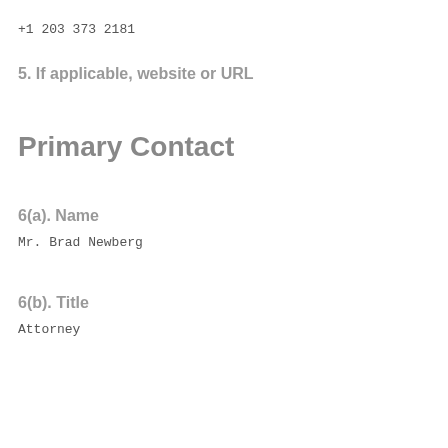+1 203 373 2181
5. If applicable, website or URL
Primary Contact
6(a). Name
Mr. Brad Newberg
6(b). Title
Attorney